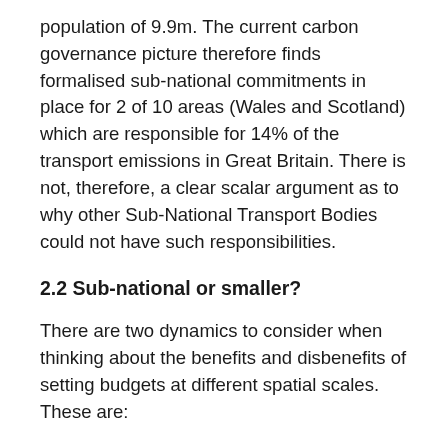population of 9.9m. The current carbon governance picture therefore finds formalised sub-national commitments in place for 2 of 10 areas (Wales and Scotland) which are responsible for 14% of the transport emissions in Great Britain. There is not, therefore, a clear scalar argument as to why other Sub-National Transport Bodies could not have such responsibilities.
2.2 Sub-national or smaller?
There are two dynamics to consider when thinking about the benefits and disbenefits of setting budgets at different spatial scales. These are:
1. The coherence of the boundary